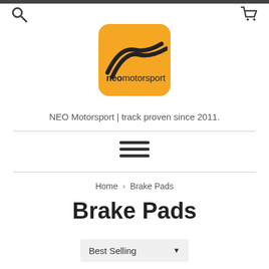[Figure (logo): NEO Motorsport logo: orange rounded square with stylized road/racetrack stripes icon and 'neomotorsport' text in black]
NEO Motorsport | track proven since 2011.
[Figure (other): Hamburger menu icon with three horizontal lines]
Home › Brake Pads
Brake Pads
Best Selling